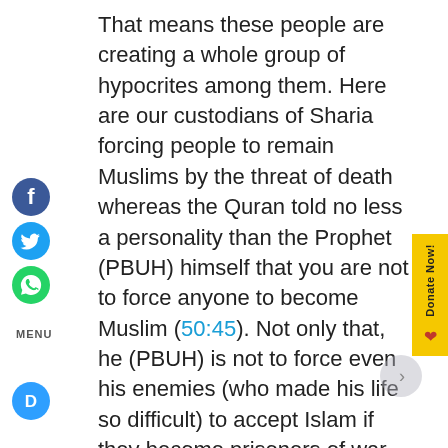That means these people are creating a whole group of hypocrites among them. Here are our custodians of Sharia forcing people to remain Muslims by the threat of death whereas the Quran told no less a personality than the Prophet (PBUH) himself that you are not to force anyone to become Muslim (50:45). Not only that, he (PBUH) is not to force even his enemies (who made his life so difficult) to accept Islam if they become prisoners of war. The Prophet (PBUH) could have done anything to them, but this is the order of the Quran: It tells that you have to treat them well while they are in your custody: that you can